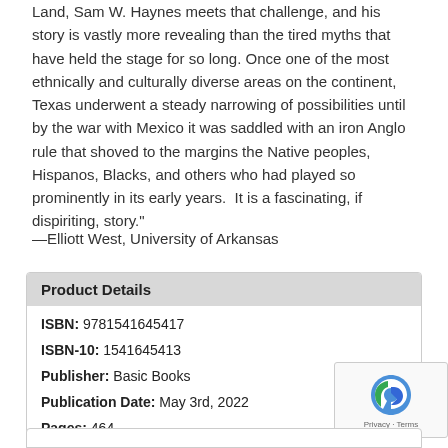Land, Sam W. Haynes meets that challenge, and his story is vastly more revealing than the tired myths that have held the stage for so long. Once one of the most ethnically and culturally diverse areas on the continent, Texas underwent a steady narrowing of possibilities until by the war with Mexico it was saddled with an iron Anglo rule that shoved to the margins the Native peoples, Hispanos, Blacks, and others who had played so prominently in its early years.  It is a fascinating, if dispiriting, story."
—Elliott West, University of Arkansas
| Product Details |
| --- |
| ISBN: 9781541645417 |
| ISBN-10: 1541645413 |
| Publisher: Basic Books |
| Publication Date: May 3rd, 2022 |
| Pages: 464 |
| Language: English |